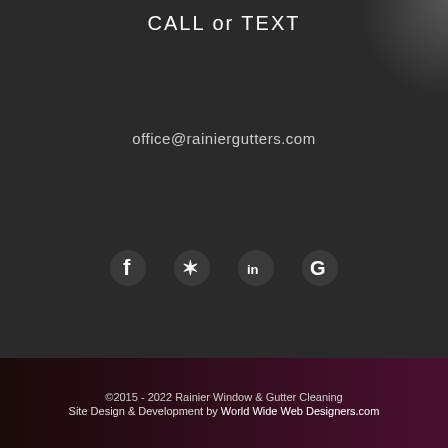CALL or TEXT
office@rainiergutters.com
[Figure (other): Social media icons: Facebook (f), Yelp (asterisk/flower), LinkedIn (in), Google (G)]
©2015 - 2022 Rainier Window & Gutter Cleaning
Site Design & Development by World Wide Web Designers.com